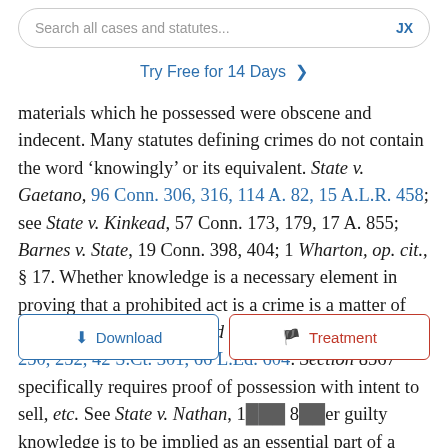[Figure (screenshot): Search bar with placeholder text 'Search all cases and statutes...' and 'JX' label on the right]
Try Free for 14 Days >
materials which he possessed were obscene and indecent. Many statutes defining crimes do not contain the word 'knowingly' or its equivalent. State v. Gaetano, 96 Conn. 306, 316, 114 A. 82, 15 A.L.R. 458; see State v. Kinkead, 57 Conn. 173, 179, 17 A. 855; Barnes v. State, 19 Conn. 398, 404; 1 Wharton, op. cit., § 17. Whether knowledge is a necessary element in proving that a prohibited act is a crime is a matter of legislative intention. United States v. Balint, 258 U.S. 250, 252, 42 S.Ct. 301, 66 L.Ed. 604. Section 8567 specifically requires proof of possession with intent to sell, etc. See State v. Nathan, 1[...] 8[...] er guilty knowledge is to be implied as an essential part of a crime
[Figure (screenshot): Download and Treatment buttons overlay]